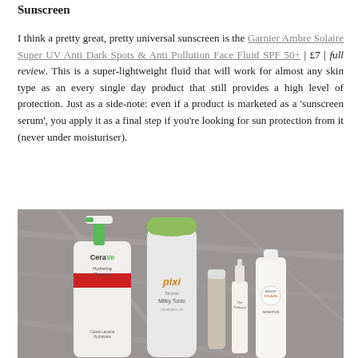Sunscreen
I think a pretty great, pretty universal sunscreen is the Garnier Ambre Solaire Super UV Anti Dark Spots & Anti Pollution Face Fluid SPF 50+ | £7 | full review. This is a super-lightweight fluid that will work for almost any skin type as an every single day product that still provides a high level of protection. Just as a side-note: even if a product is marketed as a 'sunscreen serum', you apply it as a final step if you're looking for sun protection from it (never under moisturiser).
[Figure (photo): Photo of several skincare products arranged on a marble surface, including a CeraVe Hydrating Cleanser with green pump, a Pixi Milky Tonic bottle with green lid, a small tube, The Ordinary dropper bottle, and an Ambre Solaire bottle.]